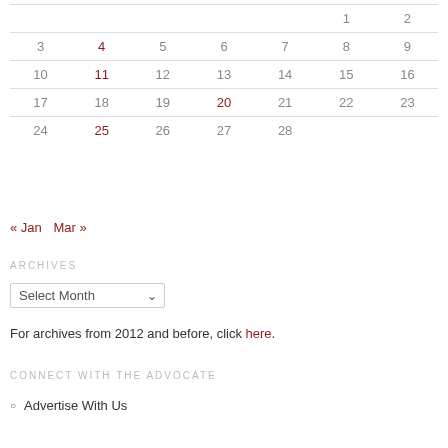| Sun | Mon | Tue | Wed | Thu | Fri | Sat |
| --- | --- | --- | --- | --- | --- | --- |
|  |  |  |  |  | 1 | 2 |
| 3 | 4 | 5 | 6 | 7 | 8 | 9 |
| 10 | 11 | 12 | 13 | 14 | 15 | 16 |
| 17 | 18 | 19 | 20 | 21 | 22 | 23 |
| 24 | 25 | 26 | 27 | 28 |  |  |
« Jan   Mar »
ARCHIVES
Select Month
For archives from 2012 and before, click here.
CONNECT WITH THE ADVOCATE
Advertise With Us